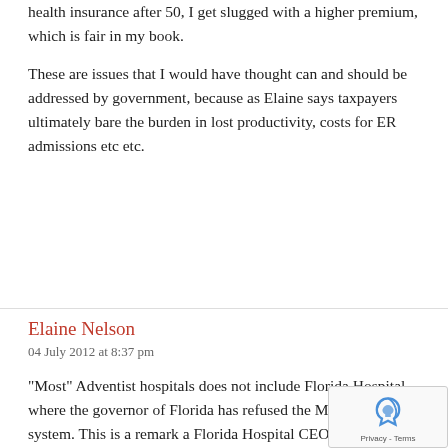health insurance after 50, I get slugged with a higher premium, which is fair in my book.
These are issues that I would have thought can and should be addressed by government, because as Elaine says taxpayers ultimately bare the burden in lost productivity, costs for ER admissions etc etc.
Elaine Nelson
04 July 2012 at 8:37 pm
"Most" Adventist hospitals does not include Florida Hospital where the governor of Florida has refused the Medicaid system.  This is a remark a Florida Hospital CEO in today's